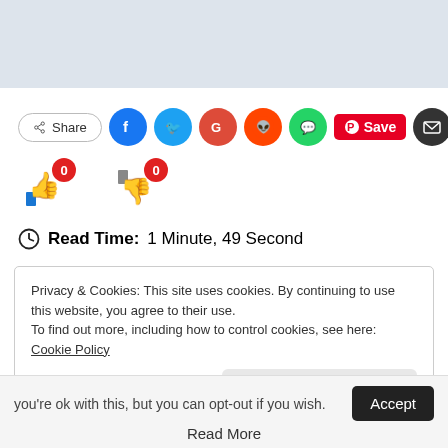[Figure (other): Light blue-grey banner area at top of page]
Share (social sharing buttons: Facebook, Twitter, Google, Reddit, WhatsApp, Pinterest Save, Email)
[Figure (other): Thumbs up icon with 0 badge and thumbs down icon with 0 badge (voting buttons)]
Read Time:  1 Minute, 49 Second
Privacy & Cookies: This site uses cookies. By continuing to use this website, you agree to their use.
To find out more, including how to control cookies, see here: Cookie Policy
CLOSE AND ACCEPT
you're ok with this, but you can opt-out if you wish.
Accept
Read More